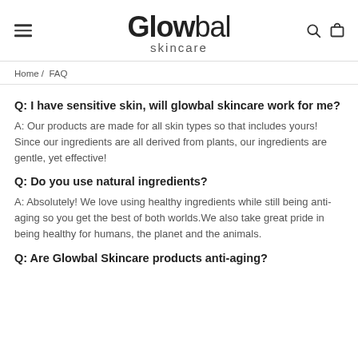Glowbal skincare
Home / FAQ
Q: I have sensitive skin, will glowbal skincare work for me?
A: Our products are made for all skin types so that includes yours! Since our ingredients are all derived from plants, our ingredients are gentle, yet effective!
Q: Do you use natural ingredients?
A: Absolutely! We love using healthy ingredients while still being anti-aging so you get the best of both worlds.We also take great pride in being healthy for humans, the planet and the animals.
Q: Are Glowbal Skincare products anti-aging?